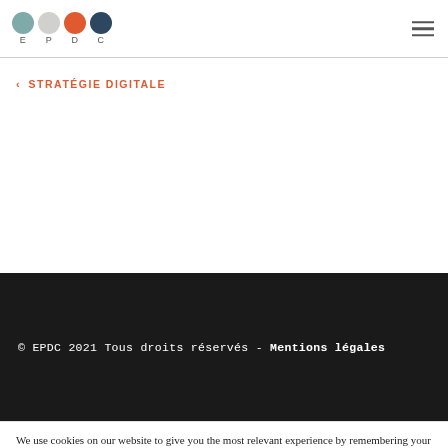EPDC logo with circles E P D C and hamburger menu
‹ STRATÉGIE DIGITALE
© EPDC 2021 Tous droits réservés - Mentions légales
We use cookies on our website to give you the most relevant experience by remembering your preferences and repeat visits. By clicking "Accept All", you consent to the